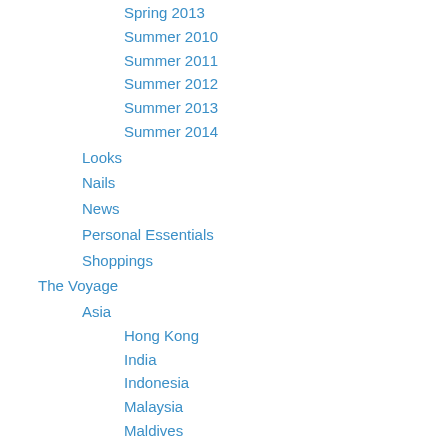Spring 2013
Summer 2010
Summer 2011
Summer 2012
Summer 2013
Summer 2014
Looks
Nails
News
Personal Essentials
Shoppings
The Voyage
Asia
Hong Kong
India
Indonesia
Malaysia
Maldives
Taiwan
Thailand